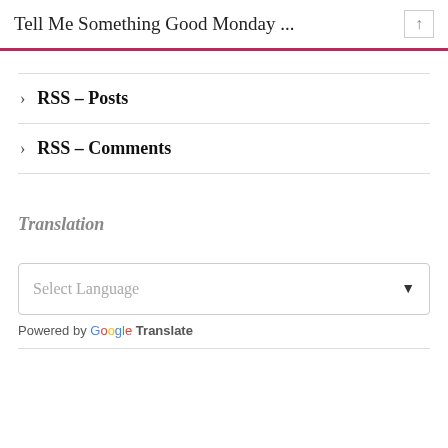Tell Me Something Good Monday ...
RSS – Posts
RSS – Comments
Translation
Select Language
Powered by Google Translate